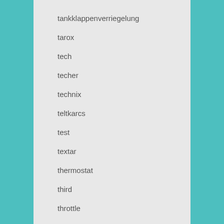tankklappenverriegelung
tarox
tech
techer
technix
teltkarcs
test
textar
thermostat
third
throttle
thule